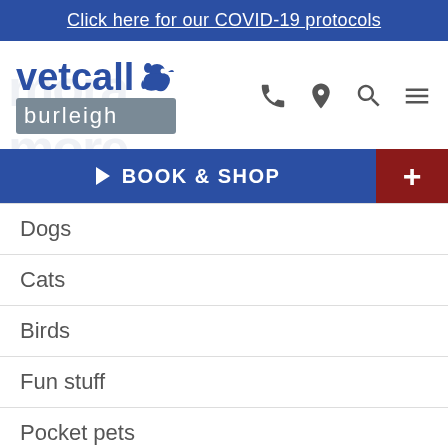Click here for our COVID-19 protocols
[Figure (logo): Vetcall Burleigh veterinary clinic logo with blue text 'vetcall' and a dog silhouette icon, and a grey box with 'burleigh' text]
BOOK & SHOP
Dogs
Cats
Birds
Fun stuff
Pocket pets
The pet owner
Loss of your best friend